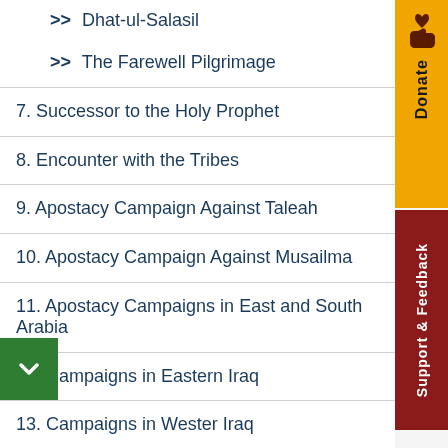>> Dhat-ul-Salasil
>> The Farewell Pilgrimage
7. Successor to the Holy Prophet
8. Encounter with the Tribes
9. Apostacy Campaign Against Taleah
10. Apostacy Campaign Against Musailma
11. Apostacy Campaigns in East and South Arabia
12. Campaigns in Eastern Iraq
13. Campaigns in Wester Iraq
14. Campaigns in Syria
15. Political, Social, Economic and Milit...